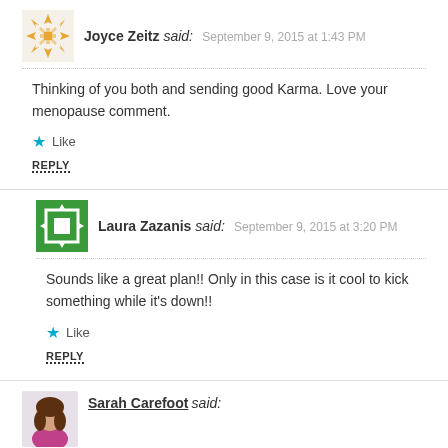Joyce Zeitz said: September 9, 2015 at 1:43 PM
Thinking of you both and sending good Karma. Love your menopause comment.
Like
REPLY
Laura Zazanis said: September 9, 2015 at 3:20 PM
Sounds like a great plan!! Only in this case is it cool to kick something while it's down!!
Like
REPLY
Sarah Carefoot said:
September 9, 2015 at 7:52 PM